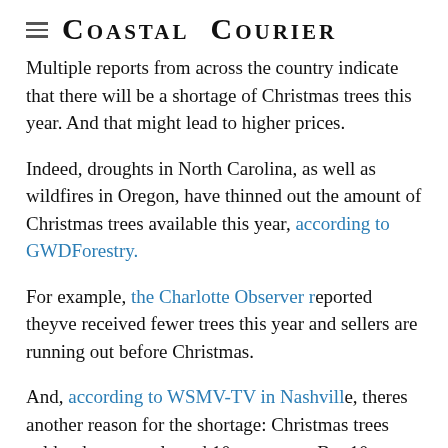Coastal Courier
Multiple reports from across the country indicate that there will be a shortage of Christmas trees this year. And that might lead to higher prices.
Indeed, droughts in North Carolina, as well as wildfires in Oregon, have thinned out the amount of Christmas trees available this year, according to GWDForestry.
For example, the Charlotte Observer reported theyve received fewer trees this year and sellers are running out before Christmas.
And, according to WSMV-TV in Nashville, theres another reason for the shortage: Christmas trees sold today were planted 10 years ago. But 10 years ago, the economic recession made families less interested in buying Christmas